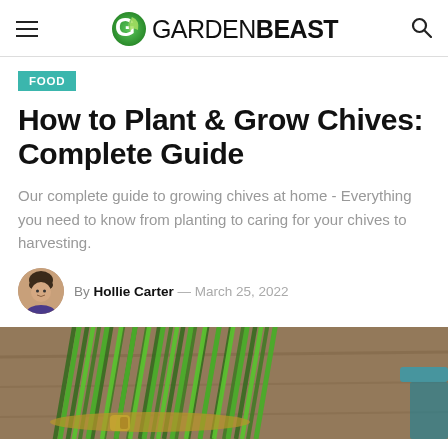GARDENBEAST
FOOD
How to Plant & Grow Chives: Complete Guide
Our complete guide to growing chives at home - Everything you need to know from planting to caring for your chives to harvesting.
By Hollie Carter — March 25, 2022
[Figure (photo): Close-up photo of fresh green chives bundled together on a wooden surface]